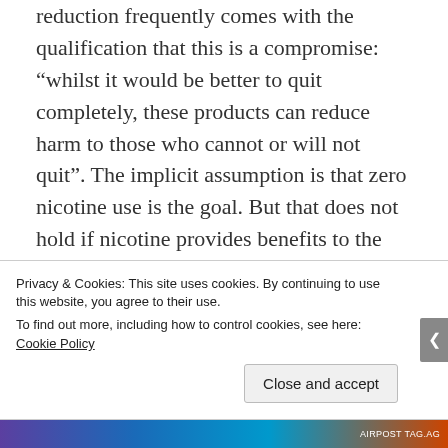reduction frequently comes with the qualification that this is a compromise: “whilst it would be better to quit completely, these products can reduce harm to those who cannot or will not quit”. The implicit assumption is that zero nicotine use is the goal. But that does not hold if nicotine provides benefits to the user. I am not a nicotine user, but I would not say zero consumption of caffeine or alcohol are optimum for me – I like a coffee in the morning a glass or
Privacy & Cookies: This site uses cookies. By continuing to use this website, you agree to their use.
To find out more, including how to control cookies, see here: Cookie Policy
Close and accept